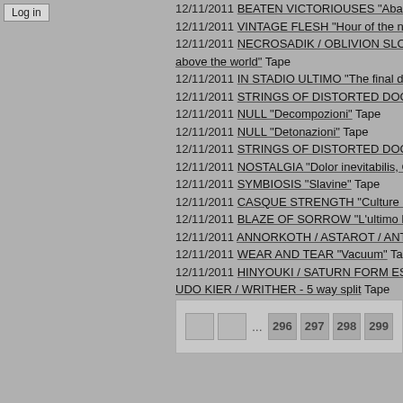Log in
12/11/2011 BEATEN VICTORIOUSES "Abali..."
12/11/2011 VINTAGE FLESH "Hour of the ni..."
12/11/2011 NECROSADIK / OBLIVION SLO... above the world" Tape
12/11/2011 IN STADIO ULTIMO "The final da..."
12/11/2011 STRINGS OF DISTORTED DOO...
12/11/2011 NULL "Decompozioni" Tape
12/11/2011 NULL "Detonazioni" Tape
12/11/2011 STRINGS OF DISTORTED DOO...
12/11/2011 NOSTALGIA "Dolor inevitabilis, C..."
12/11/2011 SYMBIOSIS "Slavine" Tape
12/11/2011 CASQUE STRENGTH "Culture &..."
12/11/2011 BLAZE OF SORROW "L'ultimo R..."
12/11/2011 ANNORKOTH / ASTAROT / ANT...
12/11/2011 WEAR AND TEAR "Vacuum" Tap...
12/11/2011 HINYOUKI / SATURN FORM ES... UDO KIER / WRITHER - 5 way split Tape
Pagination: ... 296 297 298 299